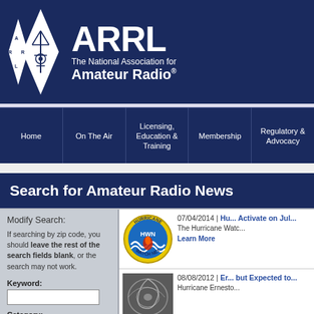[Figure (logo): ARRL logo: two white diamond shapes with ARRL letters and radio tower symbol on dark blue background, next to ARRL text and 'The National Association for Amateur Radio']
ARRL – The National Association for Amateur Radio
[Figure (other): Navigation menu bar with items: Home, On The Air, Licensing Education & Training, Membership, Regulatory & Advocacy]
Search for Amateur Radio News
Modify Search: If searching by zip code, you should leave the rest of the search fields blank, or the search may not work.
Keyword:
Category:
[Figure (logo): Hurricane Watch Net (HWN) circular badge logo: yellow circle with blue water wave, red flame, text 'HURRICANE WATCH NET' around border]
07/04/2014 | Hu... Activate on Jul...
The Hurricane Watc...
Learn More
[Figure (photo): Satellite image of a hurricane swirl, grayscale]
08/08/2012 | Er... but Expected to...
Hurricane Ernesto...